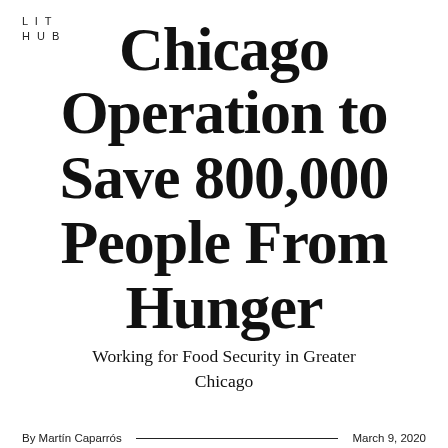LIT
HUB
Chicago Operation to Save 800,000 People From Hunger
Working for Food Security in Greater Chicago
By Martín Caparrós — March 9, 2020